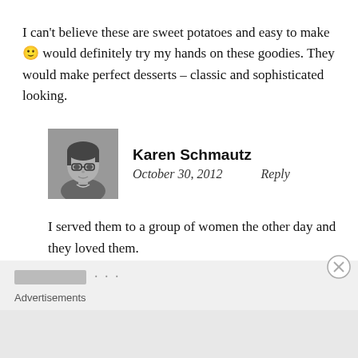I can't believe these are sweet potatoes and easy to make 🙂 would definitely try my hands on these goodies. They would make perfect desserts – classic and sophisticated looking.
[Figure (photo): Black and white portrait photo of Karen Schmautz, a woman wearing glasses]
Karen Schmautz
October 30, 2012   Reply
I served them to a group of women the other day and they loved them.
Advertisements